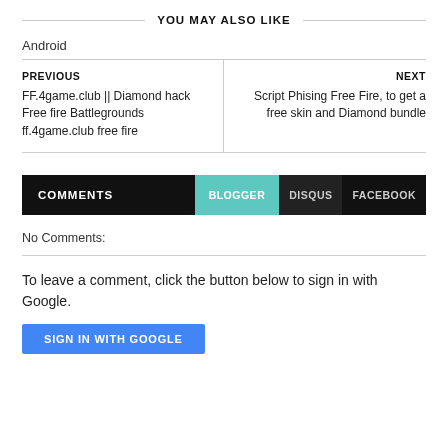YOU MAY ALSO LIKE
Android
PREVIOUS
FF.4game.club || Diamond hack Free fire Battlegrounds ff.4game.club free fire
NEXT
Script Phising Free Fire, to get a free skin and Diamond bundle
COMMENTS  BLOGGER  DISQUS  FACEBOOK
No Comments:
To leave a comment, click the button below to sign in with Google.
SIGN IN WITH GOOGLE